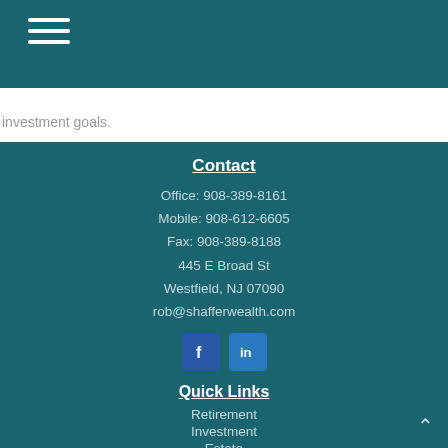[Figure (other): Hamburger menu icon with three white horizontal lines on teal background]
investment goals.
Contact
Office: 908-389-8161
Mobile: 908-612-6605
Fax: 908-389-8188
445 E Broad St
Westfield, NJ 07090
rob@shafferwealth.com
[Figure (other): Facebook and LinkedIn social media icons]
Quick Links
Retirement
Investment
Estate